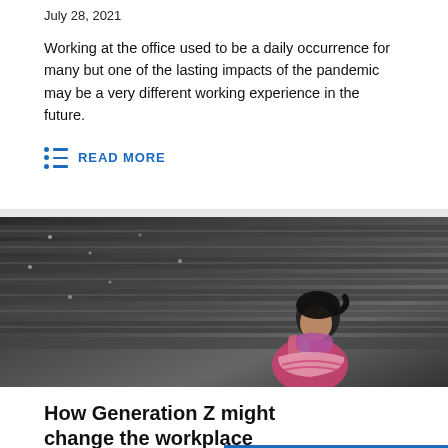July 28, 2021
Working at the office used to be a daily occurrence for many but one of the lasting impacts of the pandemic may be a very different working experience in the future.
READ MORE
[Figure (photo): A young girl wearing a pink and white striped top and scarf, looking at a smartphone, sitting in front of stepped stone wall with water trickling over it.]
How Generation Z might change the workplace
July 21, 2021
SIGN UP TO THE BLOG